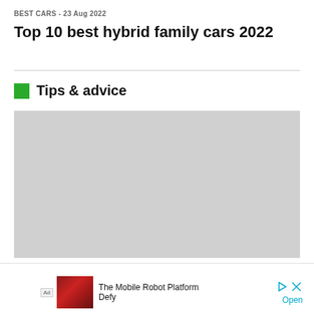BEST CARS  - 23 Aug 2022
Top 10 best hybrid family cars 2022
Tips & advice
[Figure (other): Large gray placeholder image block]
Advertisement
[Figure (photo): Ad: The Mobile Robot Platform Defy — small thumbnail of a red robot/machine with play and close icons and Open link]